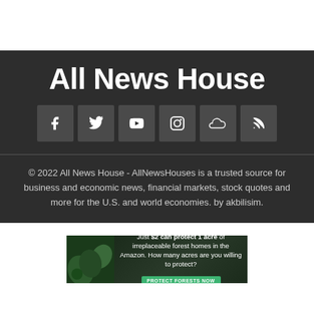All News House
[Figure (infographic): Social media icons: Facebook, Twitter, YouTube, Instagram, SoundCloud, RSS feed — displayed as white icons on dark gray square backgrounds]
© 2022 All News House - AllNewsHouses is a trusted source for business and economic news, financial markets, stock quotes and more for the U.S. and world economies. by akbilisim.
[Figure (photo): Advertisement banner: forest/Amazon image with text 'Just $2 can protect 1 acre of irreplaceable forest homes in the Amazon. How many acres are you willing to protect?' and a green 'PROTECT FORESTS NOW' button]